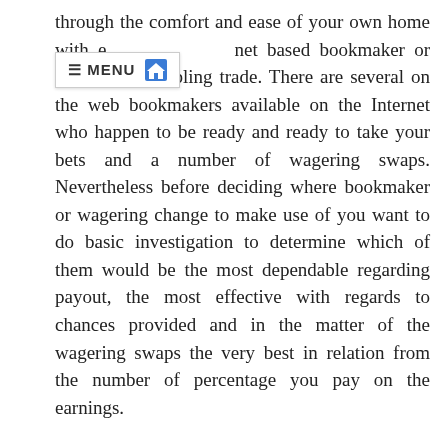through the comfort and ease of your own home with e[MENU][HOME]net based bookmaker or possibly a gambling trade. There are several on the web bookmakers available on the Internet who happen to be ready and ready to take your bets and a number of wagering swaps. Nevertheless before deciding where bookmaker or wagering change to make use of you want to do basic investigation to determine which of them would be the most dependable regarding payout, the most effective with regards to chances provided and in the matter of the wagering swaps the very best in relation from the number of percentage you pay on the earnings.
The bookmakers study the many sports activities and post on their own web sites the percentages they can be ready to provide depending on their professional judgment of any certain result developing. Their [link] prospective customers the 'bettors' then study these odds and set their wagers with the entire bookmaker